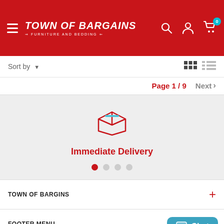TOWN OF BARGAINS — FURNITURE AND BEDDING
Sort by
Page 1 / 9   Next >
[Figure (illustration): Red outlined box/package icon with blue stripe on top, representing delivery]
Immediate Delivery
TOWN OF BARGINS
FOOTER MENU
Chat